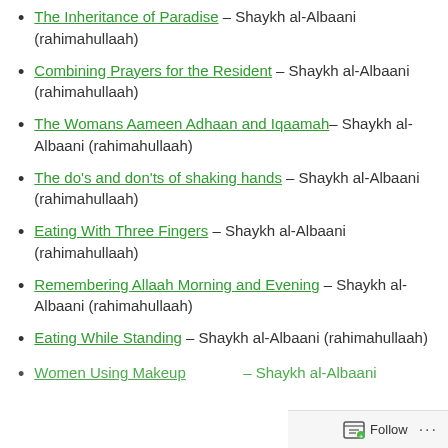The Inheritance of Paradise – Shaykh al-Albaani (rahimahullaah)
Combining Prayers for the Resident – Shaykh al-Albaani (rahimahullaah)
The Womans Aameen Adhaan and Iqaamah– Shaykh al-Albaani (rahimahullaah)
The do's and don'ts of shaking hands – Shaykh al-Albaani (rahimahullaah)
Eating With Three Fingers – Shaykh al-Albaani (rahimahullaah)
Remembering Allaah Morning and Evening – Shaykh al-Albaani (rahimahullaah)
Eating While Standing – Shaykh al-Albaani (rahimahullaah)
Women Using Makeup – Shaykh al-Albaani